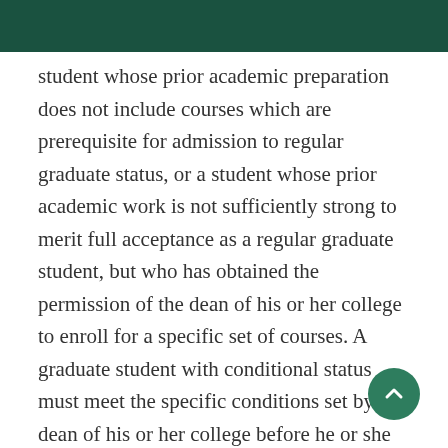student whose prior academic preparation does not include courses which are prerequisite for admission to regular graduate status, or a student whose prior academic work is not sufficiently strong to merit full acceptance as a regular graduate student, but who has obtained the permission of the dean of his or her college to enroll for a specific set of courses. A graduate student with conditional status must meet the specific conditions set by the dean of his or her college before he or she is eligible for regular graduate student status. If specifically approved by the dean, courses taken by a student with